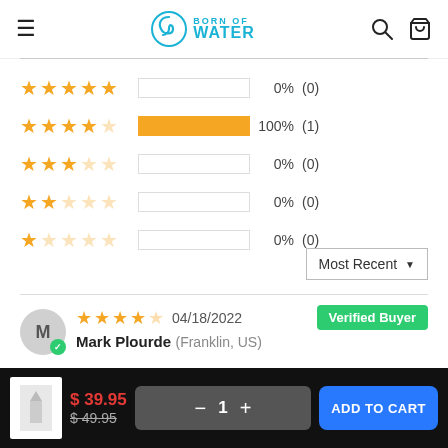Born of Water — navigation header with hamburger menu, logo, search and bag icons
[Figure (infographic): Star rating breakdown: 5-star 0% (0), 4-star 100% (1), 3-star 0% (0), 2-star 0% (0), 1-star 0% (0)]
Most Recent ▼
★★★★☆ 04/18/2022  Verified Buyer
Mark Plourde (Franklin, US)
Shark Shirt
$ 39.95  $ 49.95  − 1 +  ADD TO CART